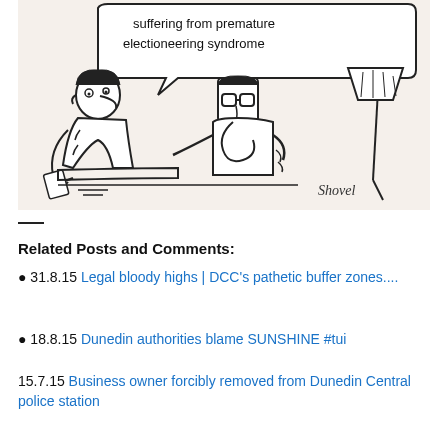[Figure (illustration): A cartoon by 'Shovel' showing a doctor and patient in a medical examination setting. A speech bubble reads 'suffering from premature electioneering syndrome'. The doctor appears to be examining the patient who is seated on an exam table. A lamp is visible in the background.]
Related Posts and Comments:
31.8.15 Legal bloody highs | DCC's pathetic buffer zones....
18.8.15 Dunedin authorities blame SUNSHINE #tui
15.7.15 Business owner forcibly removed from Dunedin Central police station